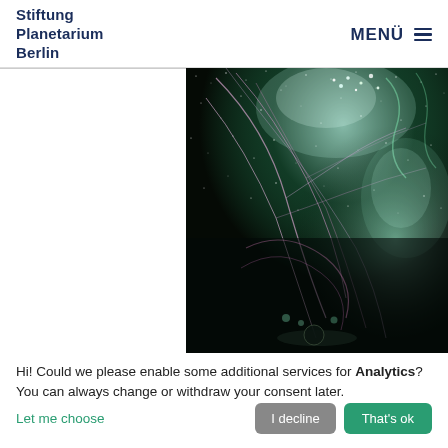Stiftung Planetarium Berlin | MENÜ
[Figure (photo): Planetarium dome projection showing nebula-like space imagery with glowing green and pink filaments against a dark starry background, with a spherical object visible at the bottom.]
Hi! Could we please enable some additional services for Analytics? You can always change or withdraw your consent later.
Let me choose | I decline | That's ok